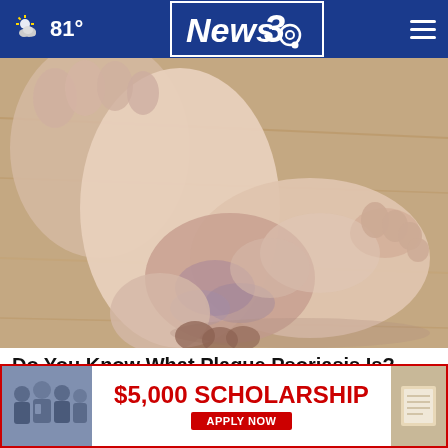81° News3
[Figure (photo): Close-up photograph of a person's foot and ankle showing dry, flaky skin consistent with plaque psoriasis, held up against a wooden floor background.]
Do You Know What Plaque Psoriasis Is? (Take a Look)
Plaque Psoriasis Treatment | 0
[Figure (photo): Advertisement banner showing group of students and $5,000 Scholarship Apply Now promotion.]